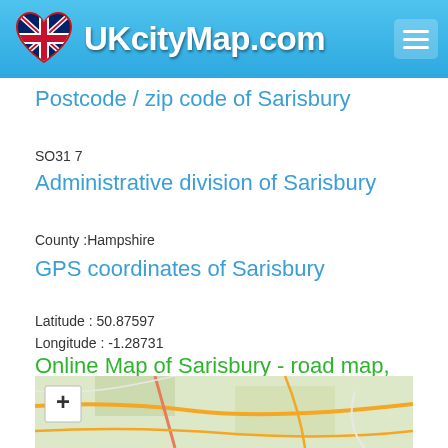UKcityMap.com
Postcode / zip code of Sarisbury
SO31 7
Administrative division of Sarisbury
County :Hampshire
GPS coordinates of Sarisbury
Latitude : 50.87597
Longitude : -1.28731
Online Map of Sarisbury - road map, satellite view and street view
[Figure (map): Street map thumbnail of Sarisbury area showing roads and terrain]